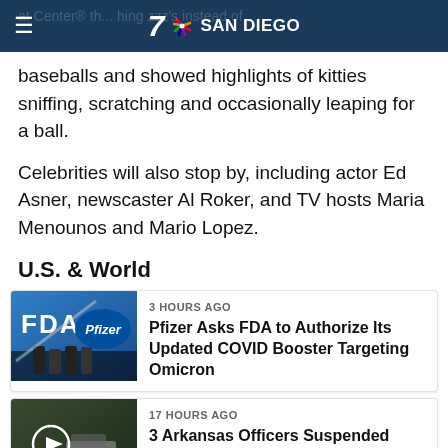7 NBC SAN DIEGO
baseballs and showed highlights of kitties sniffing, scratching and occasionally leaping for a ball.
Celebrities will also stop by, including actor Ed Asner, newscaster Al Roker, and TV hosts Maria Menounos and Mario Lopez.
U.S. & World
[Figure (screenshot): News card thumbnail: FDA and Pfizer logos]
3 HOURS AGO
Pfizer Asks FDA to Authorize Its Updated COVID Booster Targeting Omicron
[Figure (screenshot): News card thumbnail: Arkansas video with play button]
17 HOURS AGO
3 Arkansas Officers Suspended After Video Surfaces of Police Beating Man...